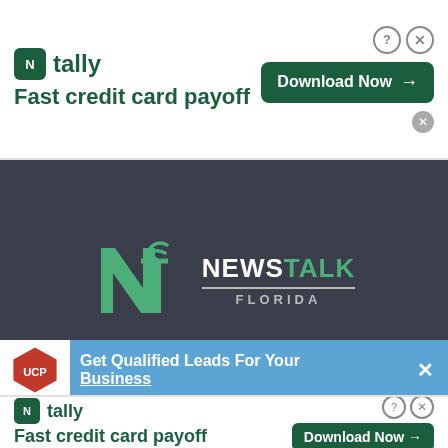[Figure (screenshot): Top advertisement banner for Tally showing 'Fast credit card payoff' with Download Now button]
[Figure (logo): NewsTalk Florida logo on dark background with NT stylized icon]
ABOUT US
[Figure (screenshot): UCP advertisement banner: Get Qualified Leads For Your Business on blue background]
[Figure (screenshot): Bottom Tally advertisement banner showing Fast credit card payoff with Download Now button]